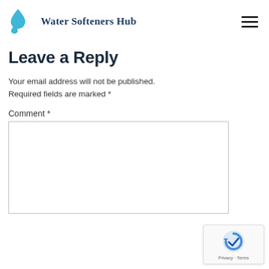Water Softeners Hub
Leave a Reply
Your email address will not be published. Required fields are marked *
Comment *